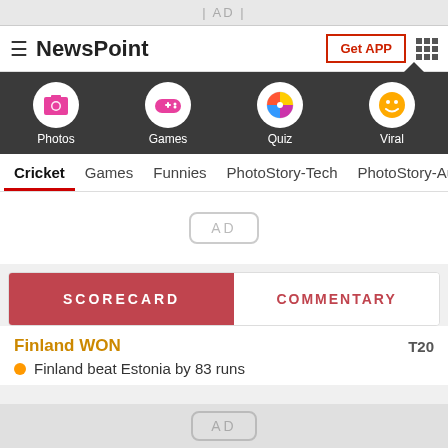| AD |
NewsPoint — Get APP
[Figure (screenshot): Dark navigation bar with four icon items: Photos (pink image icon), Games (gamepad icon), Quiz (colorful wheel icon), Viral (smiley face icon)]
Cricket  Games  Funnies  PhotoStory-Tech  PhotoStory-Auto
[Figure (screenshot): AD placeholder box in white area]
SCORECARD | COMMENTARY
Finland WON   T20
Finland beat Estonia by 83 runs
AD